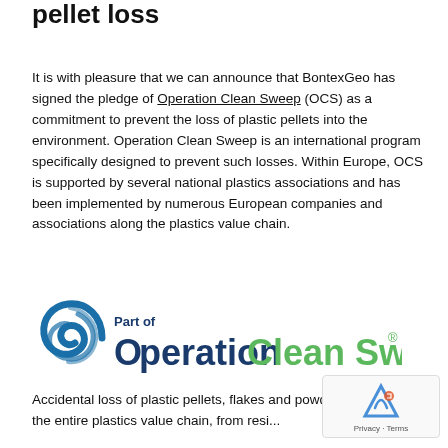pellet loss
It is with pleasure that we can announce that BontexGeo has signed the pledge of Operation Clean Sweep (OCS) as a commitment to prevent the loss of plastic pellets into the environment. Operation Clean Sweep is an international program specifically designed to prevent such losses. Within Europe, OCS is supported by several national plastics associations and has been implemented by numerous European companies and associations along the plastics value chain.
[Figure (logo): Operation Clean Sweep logo with blue swirl icon, 'Part of' text in dark blue, 'Operation' in dark blue and 'Clean Sweep' in green with registered trademark symbol]
Accidental loss of plastic pellets, flakes and powder occur along the entire plastics value chain, from resi...